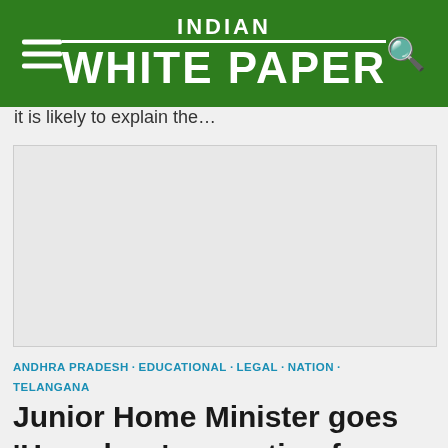INDIAN WHITE PAPER
it is likely to explain the…
[Figure (other): Advertisement or image placeholder (light gray box)]
ANDHRA PRADESH · EDUCATIONAL · LEGAL · NATION · TELANGANA
Junior Home Minister goes 'Homeless', operating from Andhra Bhavan